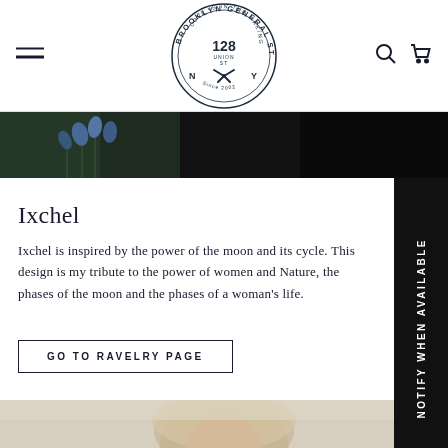Brooklyn General Store — navigation header with logo, hamburger menu, search and cart icons
[Figure (photo): Dark background image strip showing blue flowers against a dark/black background]
Ixchel
Ixchel is inspired by the power of the moon and its cycle.  This design is my tribute to the power of women and Nature, the phases of the moon and the phases of a woman's life.
GO TO RAVELRY PAGE
[Figure (photo): Bottom partial photo showing a woman with glasses and blonde hair looking upward, light background]
NOTIFY WHEN AVAILABLE